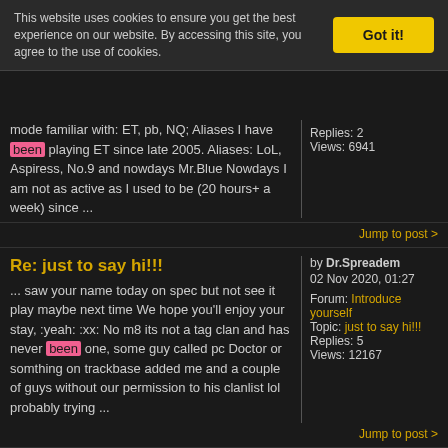This website uses cookies to ensure you get the best experience on our website. By accessing this site, you agree to the use of cookies.
Got it!
... mode familiar with: ET, pb, NQ; Aliases I have been playing ET since late 2005. Aliases: LoL, Aspiress, No.9 and nowdays Mr.Blue Nowdays I am not as active as I used to be (20 hours+ a week) since ...
Replies: 2
Views: 6941
Jump to post >
Re: just to say hi!!!
... saw your name today on spec but not see it play maybe next time We hope you'll enjoy your stay, :yeah: :xx: No m8 its not a tag clan and has never been one, some guy called pc Doctor or somthing on trackbase added me and a couple of guys without our permission to his clanlist lol probably trying ...
by Dr.Spreadem
02 Nov 2020, 01:27
Forum: Introduce yourself
Topic: just to say hi!!!
Replies: 5
Views: 12167
Jump to post >
Alcatraz
Ingame Name: Alcatraz Time: I have been playing here since March 2020. Name: Kemal Clans I was in: *=SWAG=* SL rating: https://at.splatterladder.com/2
by Alcatraz
02 Sep 2020, 00:17
Forum: Recruitment (!!!Over 18+ only, if your under then dont post!!!!)
Topic: Alcatraz